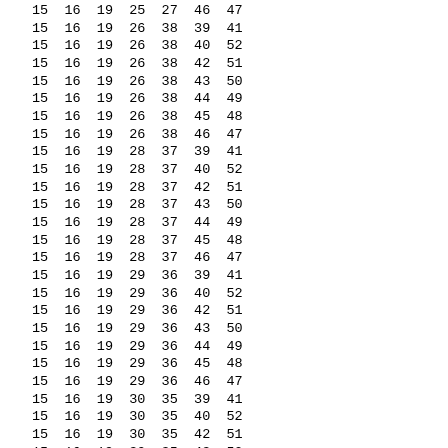| c1 | c2 | c3 | c4 | c5 | c6 | c7 |
| --- | --- | --- | --- | --- | --- | --- |
| 15 | 16 | 19 | 25 | 27 | 46 | 47 |
| 15 | 16 | 19 | 26 | 38 | 39 | 41 |
| 15 | 16 | 19 | 26 | 38 | 40 | 52 |
| 15 | 16 | 19 | 26 | 38 | 42 | 51 |
| 15 | 16 | 19 | 26 | 38 | 43 | 50 |
| 15 | 16 | 19 | 26 | 38 | 44 | 49 |
| 15 | 16 | 19 | 26 | 38 | 45 | 48 |
| 15 | 16 | 19 | 26 | 38 | 46 | 47 |
| 15 | 16 | 19 | 28 | 37 | 39 | 41 |
| 15 | 16 | 19 | 28 | 37 | 40 | 52 |
| 15 | 16 | 19 | 28 | 37 | 42 | 51 |
| 15 | 16 | 19 | 28 | 37 | 43 | 50 |
| 15 | 16 | 19 | 28 | 37 | 44 | 49 |
| 15 | 16 | 19 | 28 | 37 | 45 | 48 |
| 15 | 16 | 19 | 28 | 37 | 46 | 47 |
| 15 | 16 | 19 | 29 | 36 | 39 | 41 |
| 15 | 16 | 19 | 29 | 36 | 40 | 52 |
| 15 | 16 | 19 | 29 | 36 | 42 | 51 |
| 15 | 16 | 19 | 29 | 36 | 43 | 50 |
| 15 | 16 | 19 | 29 | 36 | 44 | 49 |
| 15 | 16 | 19 | 29 | 36 | 45 | 48 |
| 15 | 16 | 19 | 29 | 36 | 46 | 47 |
| 15 | 16 | 19 | 30 | 35 | 39 | 41 |
| 15 | 16 | 19 | 30 | 35 | 40 | 52 |
| 15 | 16 | 19 | 30 | 35 | 42 | 51 |
| 15 | 16 | 19 | 30 | 35 | 43 | 50 |
| 15 | 16 | 19 | 30 | 35 | 44 | 49 |
| 15 | 16 | 19 | 30 | 35 | 45 | 48 |
| 15 | 16 | 19 | 30 | 35 | 46 | 47 |
| 15 | 16 | 19 | 31 | 34 | 39 | 41 |